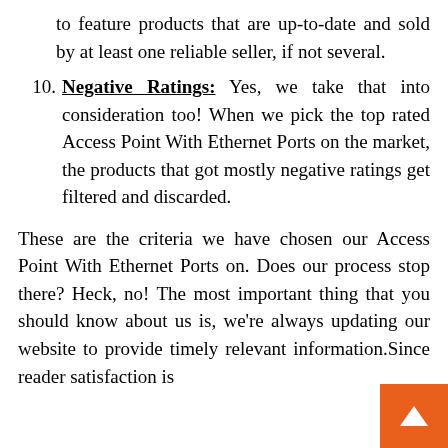to feature products that are up-to-date and sold by at least one reliable seller, if not several.
10. Negative Ratings: Yes, we take that into consideration too! When we pick the top rated Access Point With Ethernet Ports on the market, the products that got mostly negative ratings get filtered and discarded.
These are the criteria we have chosen our Access Point With Ethernet Ports on. Does our process stop there? Heck, no! The most important thing that you should know about us is, we're always updating our website to provide timely relevant information.Since reader satisfaction is